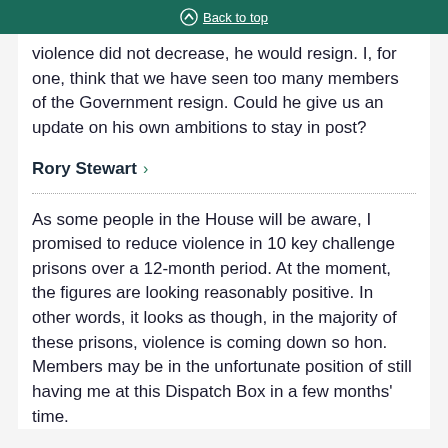Back to top
violence did not decrease, he would resign. I, for one, think that we have seen too many members of the Government resign. Could he give us an update on his own ambitions to stay in post?
Rory Stewart
As some people in the House will be aware, I promised to reduce violence in 10 key challenge prisons over a 12-month period. At the moment, the figures are looking reasonably positive. In other words, it looks as though, in the majority of these prisons, violence is coming down so hon. Members may be in the unfortunate position of still having me at this Dispatch Box in a few months' time.